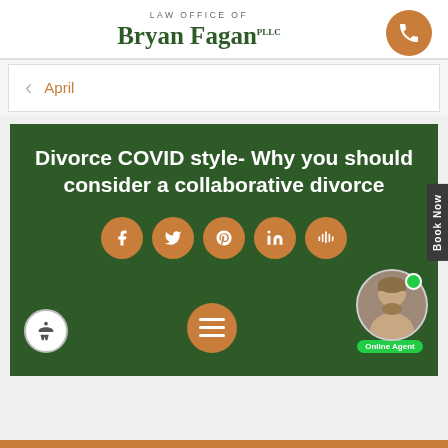LAW OFFICE OF Bryan Fagan PLLC
April
Divorce COVID style- Why you should consider a collaborative divorce
[Figure (screenshot): Social media share buttons: Facebook, Twitter, Pinterest, LinkedIn, and a chat/audio icon, rendered as orange circles with white icons]
[Figure (photo): Online agent photo of a man with beard, with a green Online Agent badge]